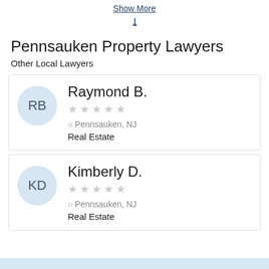Show More
Pennsauken Property Lawyers
Other Local Lawyers
Raymond B.
★★★★★
Pennsauken, NJ
Real Estate
Kimberly D.
★★★★★
Pennsauken, NJ
Real Estate